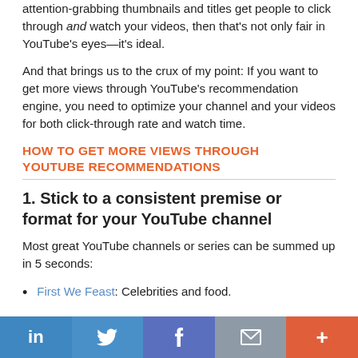attention-grabbing thumbnails and titles get people to click through and watch your videos, then that's not only fair in YouTube's eyes—it's ideal.
And that brings us to the crux of my point: If you want to get more views through YouTube's recommendation engine, you need to optimize your channel and your videos for both click-through rate and watch time.
HOW TO GET MORE VIEWS THROUGH YOUTUBE RECOMMENDATIONS
1. Stick to a consistent premise or format for your YouTube channel
Most great YouTube channels or series can be summed up in 5 seconds:
First We Feast: Celebrities and food.
Blendtec's Will it Blend?: Blending an object that